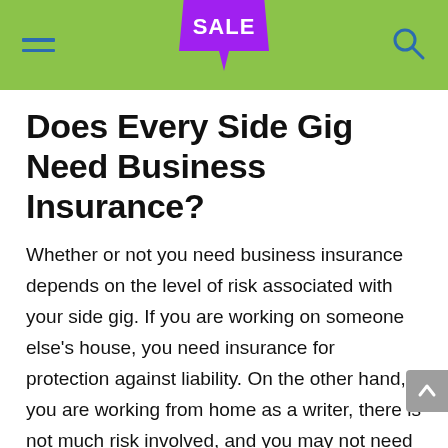SALE
Does Every Side Gig Need Business Insurance?
Whether or not you need business insurance depends on the level of risk associated with your side gig. If you are working on someone else’s house, you need insurance for protection against liability. On the other hand, if you are working from home as a writer, there is not much risk involved, and you may not need the protection. Consider the following to help you decide if you need business insurance for a side hustle:
Are business packages delivered to your home?